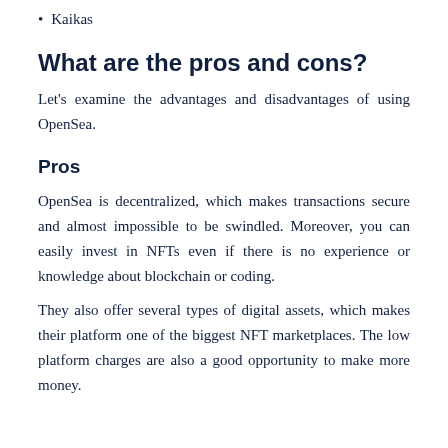Kaikas
What are the pros and cons?
Let’s examine the advantages and disadvantages of using OpenSea.
Pros
OpenSea is decentralized, which makes transactions secure and almost impossible to be swindled. Moreover, you can easily invest in NFTs even if there is no experience or knowledge about blockchain or coding.
They also offer several types of digital assets, which makes their platform one of the biggest NFT marketplaces. The low platform charges are also a good opportunity to make more money.